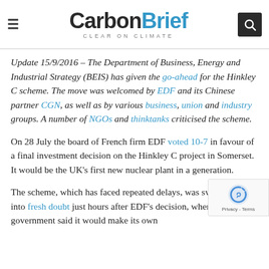CarbonBrief — CLEAR ON CLIMATE
Update 15/9/2016 – The Department of Business, Energy and Industrial Strategy (BEIS) has given the go-ahead for the Hinkley C scheme. The move was welcomed by EDF and its Chinese partner CGN, as well as by various business, union and industry groups. A number of NGOs and thinktanks criticised the scheme.
On 28 July the board of French firm EDF voted 10-7 in favour of a final investment decision on the Hinkley C project in Somerset. It would be the UK's first new nuclear plant in a generation.
The scheme, which has faced repeated delays, was swiftly thrown into fresh doubt just hours after EDF's decision, when the UK government said it would make its own…